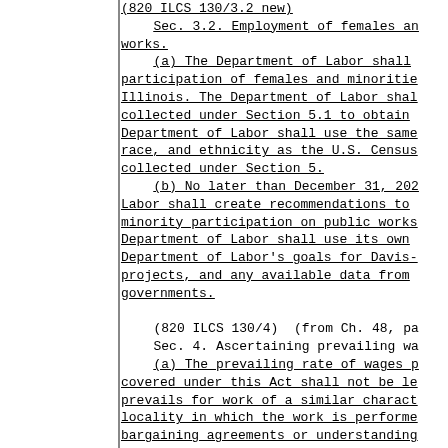(820 ILCS 130/3.2 new)
    Sec. 3.2. Employment of females an works.
    (a) The Department of Labor shall participation of females and minoritie Illinois. The Department of Labor shal collected under Section 5.1 to obtain Department of Labor shall use the same race, and ethnicity as the U.S. Census collected under Section 5.
    (b) No later than December 31, 202 Labor shall create recommendations to minority participation on public works Department of Labor shall use its own Department of Labor's goals for Davis- projects, and any available data from governments.

    (820 ILCS 130/4) (from Ch. 48, pa
    Sec. 4. Ascertaining prevailing wa
    (a) The prevailing rate of wages p covered under this Act shall not be le prevails for work of a similar charact locality in which the work is performe bargaining agreements or understanding employer associations and bona fide la relating to each craft or type of work execute the contract or perform such w bargaining agreements or understanding provided that said employers or member